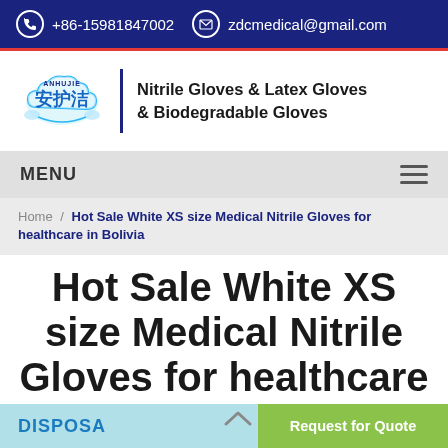+86-15981847002  zdcmedical@gmail.com
[Figure (logo): Anhujie brand logo with Chinese characters 安护洁 and cloud graphic, next to text: Nitrile Gloves & Latex Gloves & Biodegradable Gloves]
MENU
Home / Hot Sale White XS size Medical Nitrile Gloves for healthcare in Bolivia
Hot Sale White XS size Medical Nitrile Gloves for healthcare in Bolivia
DISPOSA
Request for Quote